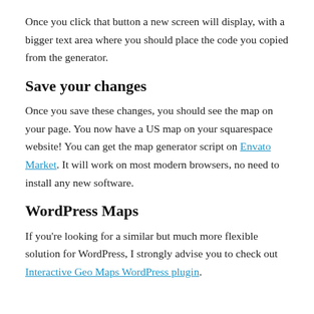Once you click that button a new screen will display, with a bigger text area where you should place the code you copied from the generator.
Save your changes
Once you save these changes, you should see the map on your page. You now have a US map on your squarespace website! You can get the map generator script on Envato Market. It will work on most modern browsers, no need to install any new software.
WordPress Maps
If you're looking for a similar but much more flexible solution for WordPress, I strongly advise you to check out Interactive Geo Maps WordPress plugin.